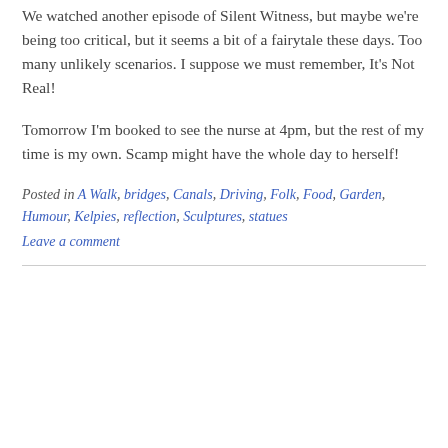We watched another episode of Silent Witness, but maybe we're being too critical, but it seems a bit of a fairytale these days. Too many unlikely scenarios. I suppose we must remember, It's Not Real!
Tomorrow I'm booked to see the nurse at 4pm, but the rest of my time is my own. Scamp might have the whole day to herself!
Posted in A Walk, bridges, Canals, Driving, Folk, Food, Garden, Humour, Kelpies, reflection, Sculptures, statues
Leave a comment